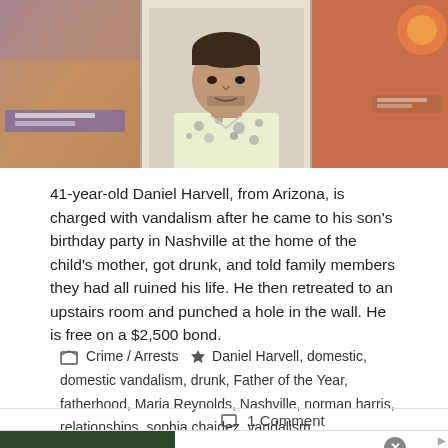[Figure (photo): Photo collage: left panel shows blurry background with purple/blue tones, center panel shows mugshot of a man in a light patterned shirt, right panel shows blurry red/orange background]
41-year-old Daniel Harvell, from Arizona, is charged with vandalism after he came to his son's birthday party in Nashville at the home of the child's mother, got drunk, and told family members they had all ruined his life. He then retreated to an upstairs room and punched a hole in the wall. He is free on a $2,500 bond.
Crime / Arrests   Daniel Harvell, domestic, domestic vandalism, drunk, Father of the Year, fatherhood, Maria Reynolds, Nashville, norman harris, relationships, sophia chaidez, vandalism
1 Comment
[Figure (photo): Advertisement for Official NFL Gear showing Patriots jerseys. Text: Official NFL Gear, Get Your Favorite Team's Gear Here, www.nflshop.com]